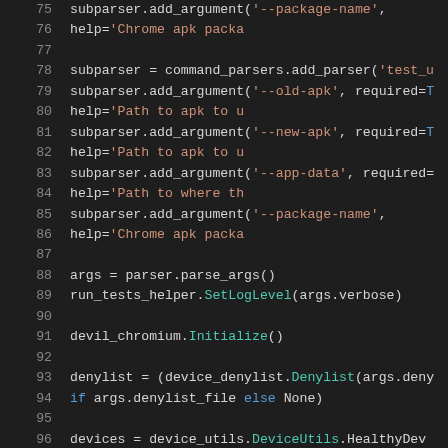[Figure (screenshot): Python source code snippet showing argument parser setup, lines 75-96, dark theme editor]